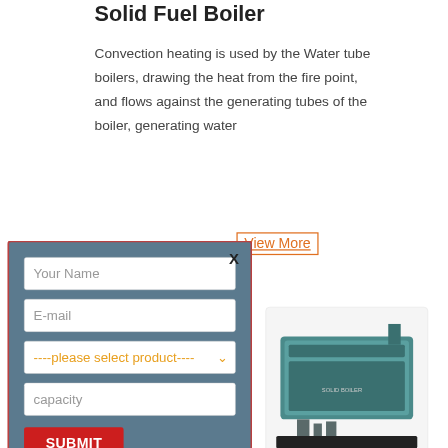Solid Fuel Boiler
Convection heating is used by the Water tube boilers, drawing the heat from the fire point, and flows against the generating tubes of the boiler, generating water
[Figure (screenshot): A contact/inquiry modal dialog with a steel-blue background and red border, containing fields: Your Name, E-mail, a product selector dropdown (----please select product----), capacity, and a red SUBMIT button. An X close button is in the top right.]
[Figure (photo): Photo of a large industrial solid fuel boiler unit, appearing teal/blue-green colored, industrial setting.]
Fired Boilers. An Investigation
Boiler tubes of coal fired thermal power plant subjected to prolong exposure at elevated temperature ZBGe their load bearing